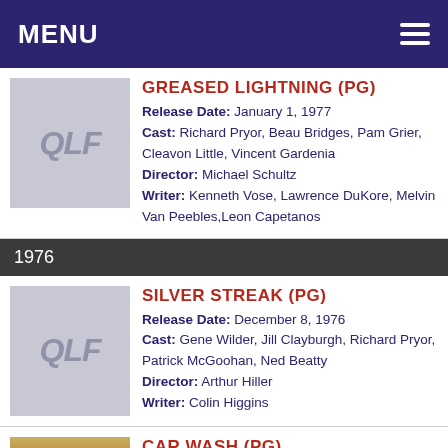MENU
GREASED LIGHTNING (PG)
Release Date: January 1, 1977
Cast: Richard Pryor, Beau Bridges, Pam Grier, Cleavon Little, Vincent Gardenia
Director: Michael Schultz
Writer: Kenneth Vose, Lawrence DuKore, Melvin Van Peebles, Leon Capetanos
1976
SILVER STREAK (PG)
Release Date: December 8, 1976
Cast: Gene Wilder, Jill Clayburgh, Richard Pryor, Patrick McGoohan, Ned Beatty
Director: Arthur Hiller
Writer: Colin Higgins
CAR WASH (PG)
Release Date: October 22, 1976
Cast: Richard Pryor, Franklyn Ajaye, Otis Day, Darrow Igus, Antonio Fargas